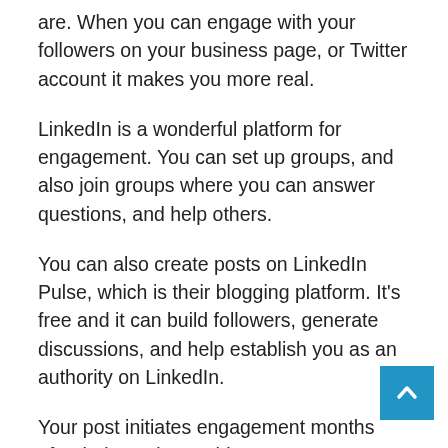are. When you can engage with your followers on your business page, or Twitter account it makes you more real.
LinkedIn is a wonderful platform for engagement. You can set up groups, and also join groups where you can answer questions, and help others.
You can also create posts on LinkedIn Pulse, which is their blogging platform. It’s free and it can build followers, generate discussions, and help establish you as an authority on LinkedIn.
Your post initiates engagement months after being written. This top 5 DIY marketing tip is pure gold that many businesses large and small miss out on.
Additional Marketing Tips from the Pros